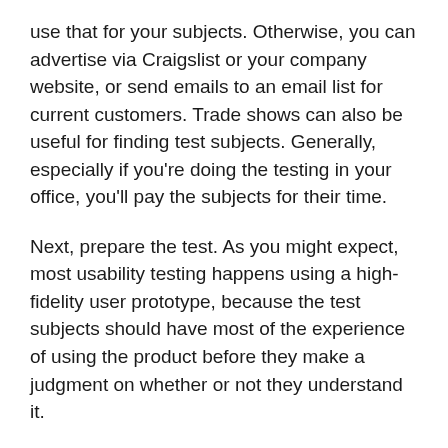use that for your subjects. Otherwise, you can advertise via Craigslist or your company website, or send emails to an email list for current customers. Trade shows can also be useful for finding test subjects. Generally, especially if you're doing the testing in your office, you'll pay the subjects for their time.
Next, prepare the test. As you might expect, most usability testing happens using a high-fidelity user prototype, because the test subjects should have most of the experience of using the product before they make a judgment on whether or not they understand it.
Before administering the test, decide what you want out of it and what you want the test subjects to do. If you're designing a betting app, for example, you'll look for test subjects navigating the app, placing (fake) bets, depositing money, and so on.
Someone should administer the test and another th...